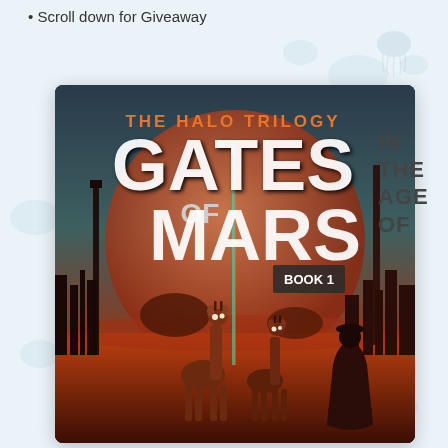Scroll down for Giveaway
[Figure (illustration): Book cover for 'Gates of Mars, Book 1' from The Halo Trilogy. Shows two giraffes and a cloaked figure standing in a reddish Martian landscape with large planet in background, futuristic city silhouette, and vertical light beam. Title text 'GATES OF MARS' in large white letters, 'THE HALO TRILOGY' in orange at top, 'BOOK 1' in white box lower right.]
IN THE AGE OF